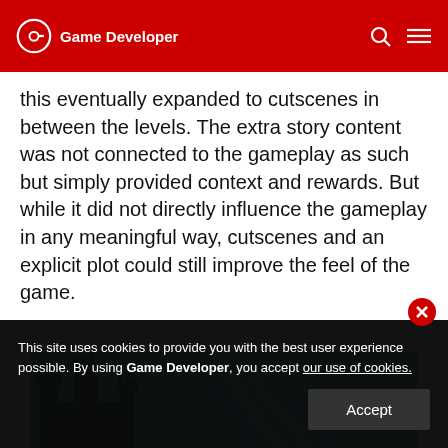Game Developer
this eventually expanded to cutscenes in between the levels. The extra story content was not connected to the gameplay as such but simply provided context and rewards. But while it did not directly influence the gameplay in any meaningful way, cutscenes and an explicit plot could still improve the feel of the game.
[Figure (screenshot): A game screenshot showing a fantasy castle silhouette against a bright blue sky with light beam streaks.]
This site uses cookies to provide you with the best user experience possible. By using Game Developer, you accept our use of cookies.